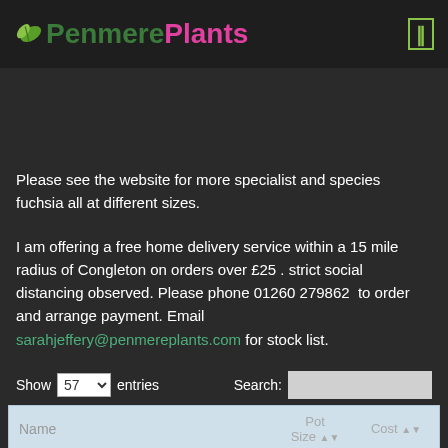PenmerePlants
Please see the website for more specialist and species fuchsia all at different sizes.
I am offering a free home delivery service within a 15 mile radius of Congleton on orders over £25 . strict social distancing observed. Please phone 01260 279862  to order and arrange payment. Email sarahjeffery@penmereplants.com for stock list.
Show 57 entries  Search:
| Name | Pot Size | Cost |
| --- | --- | --- |